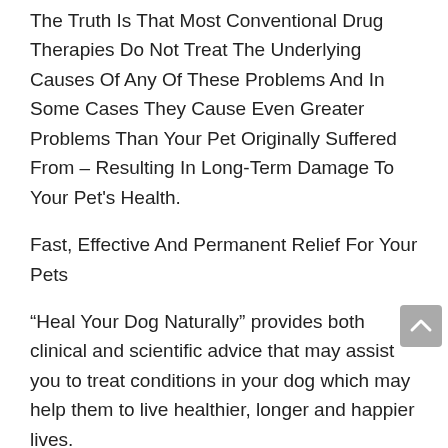The Truth Is That Most Conventional Drug Therapies Do Not Treat The Underlying Causes Of Any Of These Problems And In Some Cases They Cause Even Greater Problems Than Your Pet Originally Suffered From – Resulting In Long-Term Damage To Your Pet's Health.
Fast, Effective And Permanent Relief For Your Pets
“Heal Your Dog Naturally” provides both clinical and scientific advice that may assist you to treat conditions in your dog which may help them to live healthier, longer and happier lives.
It provides the guardians of animals, not with more than...